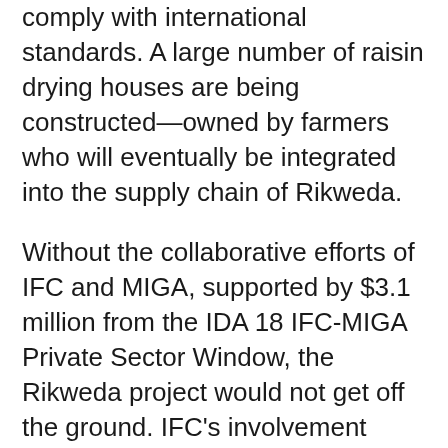comply with international standards. A large number of raisin drying houses are being constructed—owned by farmers who will eventually be integrated into the supply chain of Rikweda.
Without the collaborative efforts of IFC and MIGA, supported by $3.1 million from the IDA 18 IFC-MIGA Private Sector Window, the Rikweda project would not get off the ground. IFC's involvement went beyond providing affordable financing by sharing industry comprehensive guidance to the client ranging from advising on plant and storage capacity designs, recruiting a financial and operational management team, to brokering negotiations with potential buyers in potential